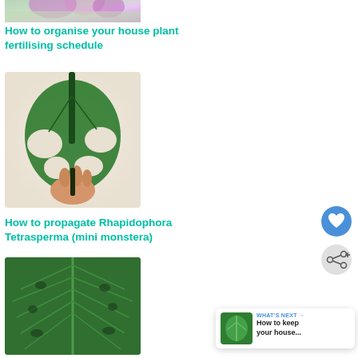[Figure (photo): Top portion of orchid plant image, partially cropped at top of page]
How to organise your house plant fertilising schedule
[Figure (photo): Hand holding a Monstera / Rhapidophora Tetrasperma leaf cutting with dark stem]
How to propagate Rhapidophora Tetrasperma (mini monstera)
[Figure (photo): Close-up of large Philodendron or similar tropical plant leaf with holes, showing detailed leaf texture]
[Figure (other): Heart/favourite button (blue circle with heart icon)]
[Figure (other): Share button (grey circle with share icon)]
WHAT'S NEXT → How to keep your house...